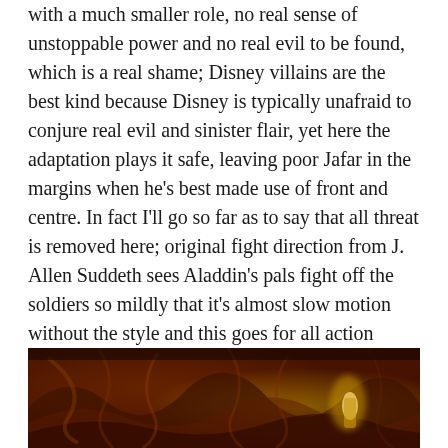with a much smaller role, no real sense of unstoppable power and no real evil to be found, which is a real shame; Disney villains are the best kind because Disney is typically unafraid to conjure real evil and sinister flair, yet here the adaptation plays it safe, leaving poor Jafar in the margins when he's best made use of front and centre. In fact I'll go so far as to say that all threat is removed here; original fight direction from J. Allen Suddeth sees Aladdin's pals fight off the soldiers so mildly that it's almost slow motion without the style and this goes for all action which could be perceived as violent – each lunge and lash is underplayed and unnecessarily flimsy, making me miss the sense of danger which is of course quite pivotal in Aladdin's story.
[Figure (photo): A warm dark reddish-orange image showing what appears to be a cave or mystical scene, with flowing golden and amber tones suggesting fire or warm light.]